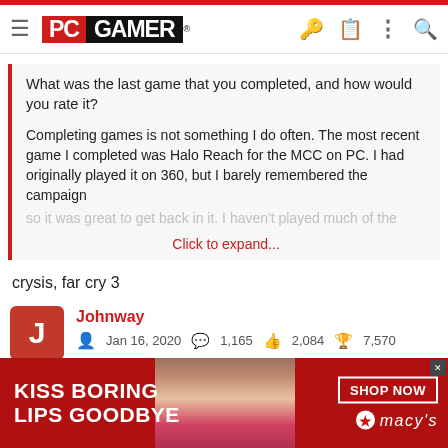PC GAMER
What was the last game that you completed, and how would you rate it?
Completing games is not something I do often. The most recent game I completed was Halo Reach for the MCC on PC. I had originally played it on 360, but I barely remembered the campaign so it was great to get back in it. I haven't played much of the
Click to expand...
crysis, far cry 3
Johnway
Jan 16, 2020   1,165   2,084   7,570
[Figure (screenshot): Advertisement banner for Macy's: KISS BORING LIPS GOODBYE with SHOP NOW button and Macy's star logo]